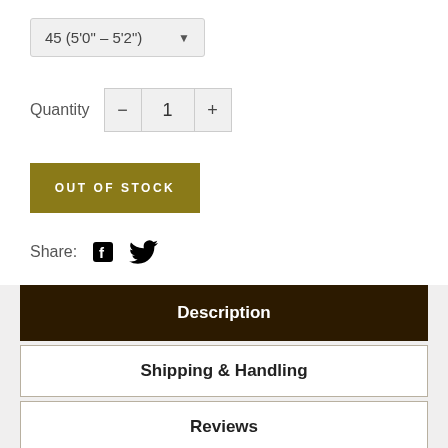45 (5'0" – 5'2")
Quantity  1
OUT OF STOCK
Share:
Description
Shipping & Handling
Reviews
Measuring Guidelines